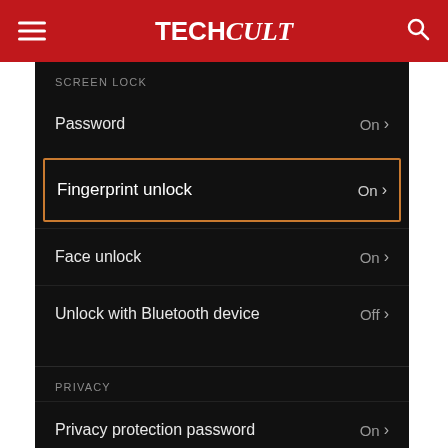TechCult
[Figure (screenshot): Android settings screen showing Security options: Password (On), Fingerprint unlock (On, highlighted with orange border), Face unlock (On), Unlock with Bluetooth device (Off), and Privacy section with Privacy protection password (On), Location (On).]